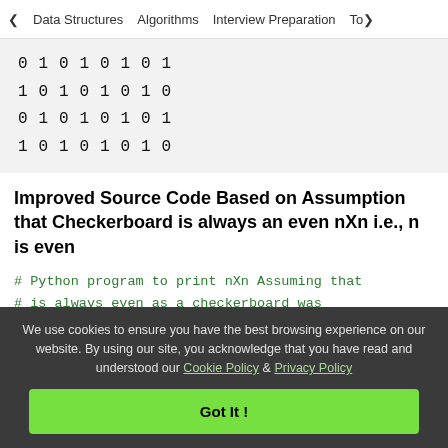< Data Structures   Algorithms   Interview Preparation   To>
0 1 0 1 0 1 0 1
1 0 1 0 1 0 1 0
0 1 0 1 0 1 0 1
1 0 1 0 1 0 1 0
Improved Source Code Based on Assumption that Checkerboard is always an even nXn i.e., n is even
# Python program to print nXn Assuming that
# is always even as a checkerboard was
We use cookies to ensure you have the best browsing experience on our website. By using our site, you acknowledge that you have read and understood our Cookie Policy & Privacy Policy
Got It !